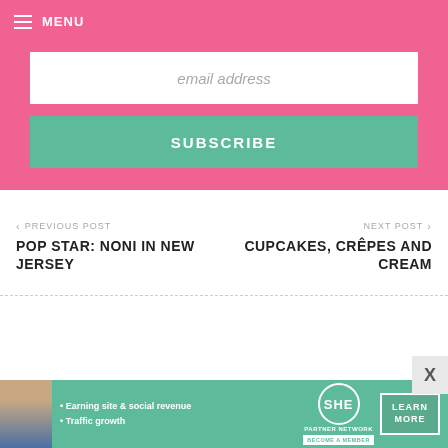MENU
email address
SUBSCRIBE
PREVIOUS POST
POP STAR: NONI IN NEW JERSEY
NEXT POST
CUPCAKES, CRÊPES AND CREAM
[Figure (infographic): SHE Partner Network advertisement banner with woman photo, bullet points about Earning site & social revenue and Traffic growth, SHE logo, and LEARN MORE button]
X